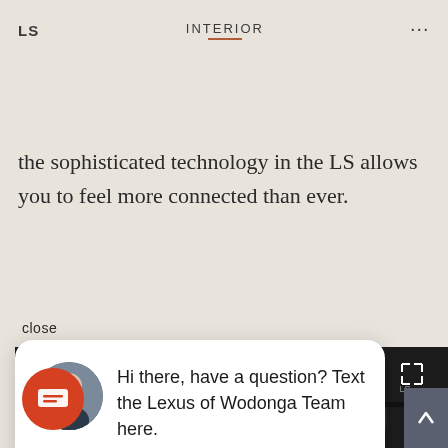LS    INTERIOR    ...
With a new 12.3-inch touch screen, Apple Carplay®*, Android Auto™* and Lexus Connected Services®*, the sophisticated technology in the LS allows you to feel more connected than ever.
close
Hi there, have a question? Text the Lexus of Wodonga Team here.
[Figure (photo): Lexus LS car interior dashboard with steering wheel and infotainment screen]